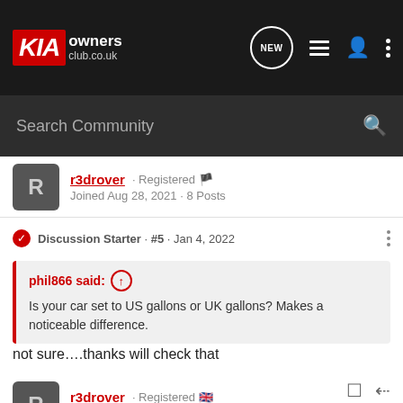KIA owners club.co.uk
Search Community
r3drover · Registered 🏴 Joined Aug 28, 2021 · 8 Posts
Discussion Starter · #5 · Jan 4, 2022
phil866 said: ↑ Is your car set to US gallons or UK gallons? Makes a noticeable difference.
not sure….thanks will check that
r3drover · Registered 🇬🇧 Joined Aug 28, 2021 · 8 Posts